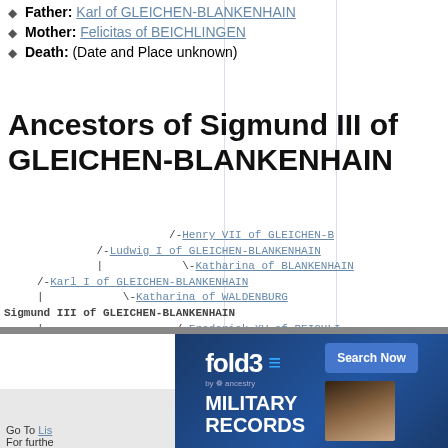Father: Karl of GLEICHEN-BLANKENHAIN
Mother: Felicitas of BEICHLINGEN
Death: (Date and Place unknown)
Ancestors of Sigmund III of GLEICHEN-BLANKENHAIN
[Figure (other): Genealogical ancestor tree for Sigmund III of GLEICHEN-BLANKENHAIN showing parents, grandparents, and great-grandparents with linked names in monospace text tree format]
[Figure (other): Advertisement banner for fold3 Military Records by Ancestry with Search Now button and close button]